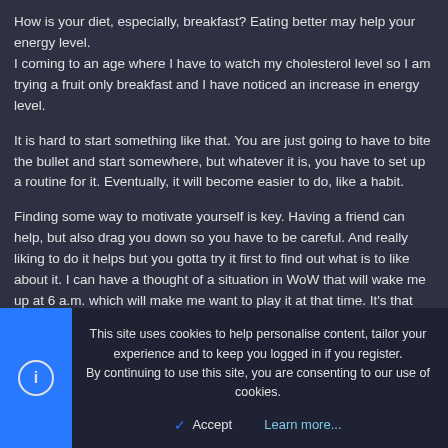How is your diet, especially, breakfast? Eating better may help your energy level.
I coming to an age where I have to watch my cholesterol level so I am trying a fruit only breakfast and I have noticed an increase in energy level.
It is hard to start something like that. You are just going to have to bite the bullet and start somewhere, but whatever it is, you have to set up a routine for it. Eventually, it will become easier to do, like a habit.
Finding some way to motivate yourself is key. Having a friend can help, but also drag you down so you have to be careful. And really liking to do it helps but you gotta try it first to find out what is to like about it. I can have a thought of a situation in WoW that will wake me up at 6 a.m. which will make me want to play it at that time. It's that easy. The thought of working out sometimes, I have to look at myself naked in the mirror and find flaws to motivate me to work out. Sorry for the TMI, but it is what motivates me to work out.
This site uses cookies to help personalise content, tailor your experience and to keep you logged in if you register.
By continuing to use this site, you are consenting to our use of cookies.
Accept
Learn more...